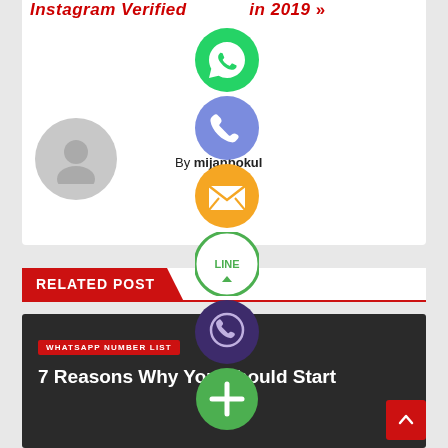Instagram Verified in 2019 »
By mijanbokul
[Figure (illustration): Column of social media share icons: WhatsApp (green), Phone/Viber (blue-purple), Email (orange), LINE (green), Viber (dark purple), Plus/Add (green). Plus a grey user avatar circle on the left.]
RELATED POST
[Figure (illustration): Dark article card with red tag label 'WHATSAPP NUMBER LIST' and white headline text '7 Reasons Why You Should Start']